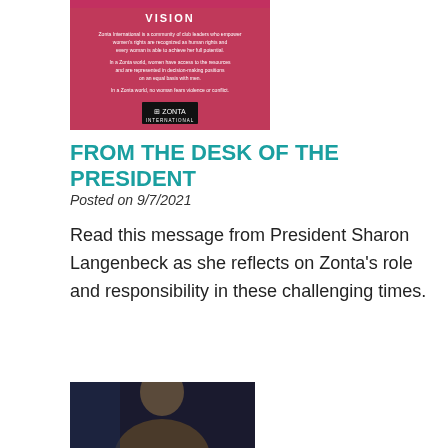[Figure (illustration): Pink Zonta International vision card with white text and Zonta International logo at bottom]
FROM THE DESK OF THE PRESIDENT
Posted on 9/7/2021
Read this message from President Sharon Langenbeck as she reflects on Zonta's role and responsibility in these challenging times.
[Figure (photo): Portrait photo of a woman, partially visible at bottom of page]